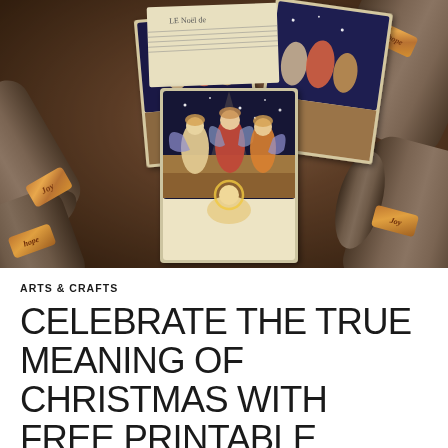[Figure (photo): Photograph of rolled brown fabric napkins with decorative gold/copper napkin rings engraved with words like Joy, Hope, and Joy. Scattered vintage Christmas nativity cards showing angels and baby Jesus are visible among the napkins. The scene has a warm, dark, rustic aesthetic.]
ARTS & CRAFTS
CELEBRATE THE TRUE MEANING OF CHRISTMAS WITH FREE PRINTABLE NATIVITY CARDS & EASY